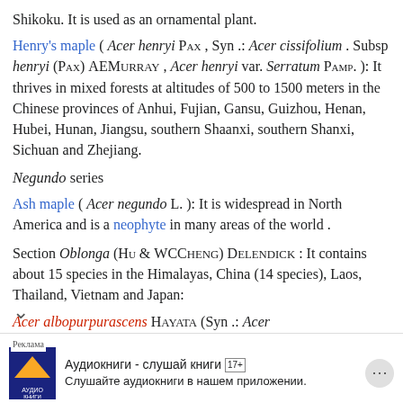Shikoku. It is used as an ornamental plant.
Henry's maple ( Acer henryi Pax , Syn .: Acer cissifolium . Subsp henryi (Pax) AEMurray , Acer henryi var. Serratum Pamp. ): It thrives in mixed forests at altitudes of 500 to 1500 meters in the Chinese provinces of Anhui, Fujian, Gansu, Guizhou, Henan, Hubei, Hunan, Jiangsu, southern Shaanxi, southern Shanxi, Sichuan and Zhejiang.
Negundo series
Ash maple ( Acer negundo L. ): It is widespread in North America and is a neophyte in many areas of the world .
Section Oblonga (Hu & WCCheng) Delendick : It contains about 15 species in the Himalayas, China (14 species), Laos, Thailand, Vietnam and Japan:
Acer albopurpurascens Hayata (Syn .: Acer ...